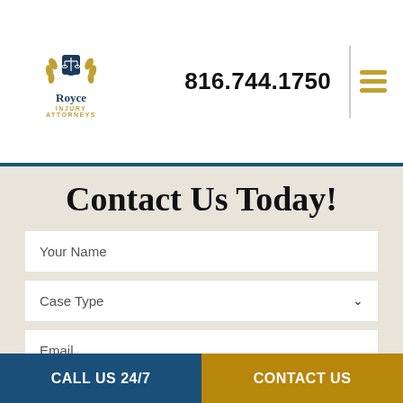[Figure (logo): Royce Injury Attorneys logo with scales of justice icon and gold laurel wreath]
816.744.1750
Contact Us Today!
Your Name
Case Type
Email
Phone
CALL US 24/7 | CONTACT US